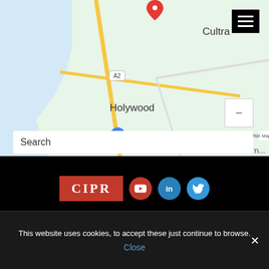[Figure (map): Google Maps screenshot showing Holywood and Cultra area in Northern Ireland, with a red location pin, roads including A2, and water visible on the left. Labels visible: Holywood, Cultra, IKEA, Google, Keyboard shortcuts, Map data ©2022, Terms of Use.]
Search
[Figure (logo): CIPR logo (red rectangle with white serif text 'CIPR'), YouTube icon (red circle), LinkedIn icon (blue circle with 'in'), Twitter icon (blue circle with bird)]
[Figure (logo): Business in the Community logo with dark blue and pink overlapping squares. Text: 'The Responsible Business Network Northern Ireland']
This website uses cookies, to accept these just continue to browse.
Close